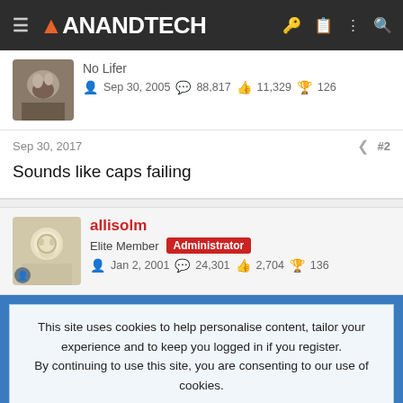[Figure (screenshot): AnandTech website header/navigation bar with logo, hamburger menu, and icons]
No Lifer
Sep 30, 2005   88,817   11,329   126
Sep 30, 2017   #2
Sounds like caps failing
allisolm
Elite Member  Administrator
Jan 2, 2001   24,301   2,704   136
This site uses cookies to help personalise content, tailor your experience and to keep you logged in if you register.
By continuing to use this site, you are consenting to our use of cookies.